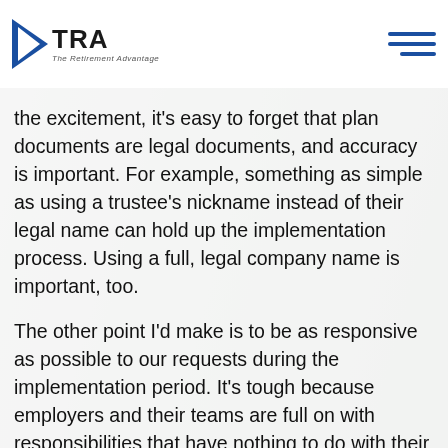TRA – The Retirement Advantage
the excitement, it's easy to forget that plan documents are legal documents, and accuracy is important. For example, something as simple as using a trustee's nickname instead of their legal name can hold up the implementation process. Using a full, legal company name is important, too.
The other point I'd make is to be as responsive as possible to our requests during the implementation period. It's tough because employers and their teams are full on with responsibilities that have nothing to do with their 401(k) plans. We understand! But when they can get back signed plan documents and forms to us, as well as census information, during the specified timeframes, it makes all the difference.
Were there any noteworthy challenges you and your team had to deal with during the pandemic? Any